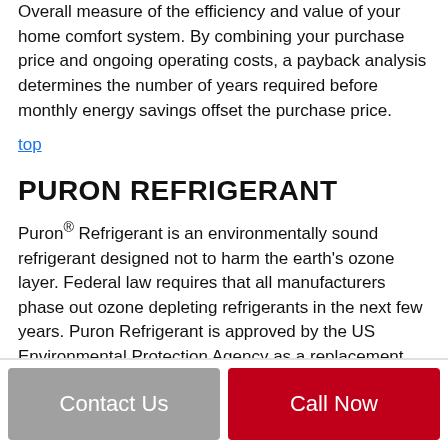Overall measure of the efficiency and value of your home comfort system. By combining your purchase price and ongoing operating costs, a payback analysis determines the number of years required before monthly energy savings offset the purchase price.
top
PURON REFRIGERANT
Puron® Refrigerant is an environmentally sound refrigerant designed not to harm the earth's ozone layer. Federal law requires that all manufacturers phase out ozone depleting refrigerants in the next few years. Puron Refrigerant is approved by the US Environmental Protection Agency as a replacement from Freon 22*.
top
Contact Us
Call Now